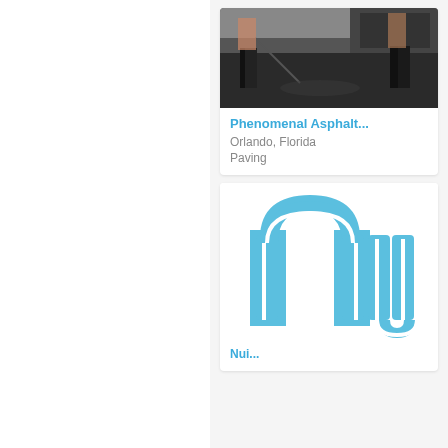[Figure (photo): Photo of workers paving asphalt on a road, showing workers spreading dark asphalt material with tools near a truck]
Phenomenal Asphalt...
Orlando, Florida
Paving
[Figure (logo): Logo showing stylized blue letters 'nu' with rounded arch shapes in light blue with white outline on white background]
Nui...